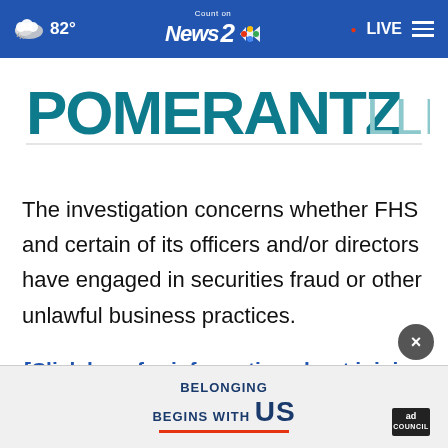82° Count on News 2 NBC LIVE
[Figure (logo): POMERANTZ LLP law firm logo in teal/dark blue text with horizontal rule beneath]
The investigation concerns whether FHS and certain of its officers and/or directors have engaged in securities fraud or other unlawful business practices.
[Click here for information about joining the class action]
On or                                                    d its initial
[Figure (advertisement): BELONGING BEGINS WITH US ad council advertisement banner with red underline and ad council badge, and close button]